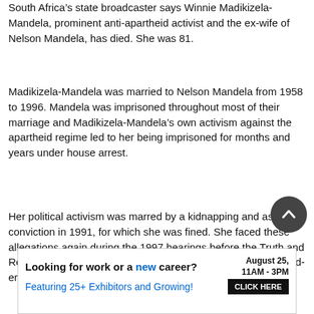South Africa's state broadcaster says Winnie Madikizela-Mandela, prominent anti-apartheid activist and the ex-wife of Nelson Mandela, has died. She was 81.
Madikizela-Mandela was married to Nelson Mandela from 1958 to 1996. Mandela was imprisoned throughout most of their marriage and Madikizela-Mandela's own activism against the apartheid regime led to her being imprisoned for months and years under house arrest.
Her political activism was marred by a kidnapping and assault conviction in 1991, for which she was fined. She faced these allegations again during the 1997 hearings before the Truth and Reconciliation Commission, a panel that investigated apartheid-era crimes.
[Figure (other): Circular scroll-to-top button with upward-pointing chevron arrow on dark grey background]
Looking for work or a new career? August 25, 11AM - 3PM
Featuring 25+ Exhibitors and Growing! CLICK HERE